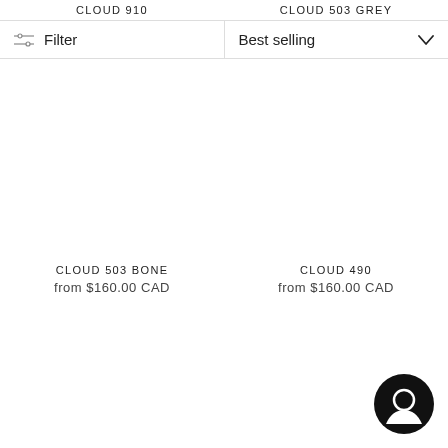CLOUD 910   CLOUD 503 GREY
Filter   Best selling
[Figure (other): Product image placeholder for CLOUD 503 BONE]
[Figure (other): Product image placeholder for CLOUD 490]
CLOUD 503 BONE
from $160.00 CAD
CLOUD 490
from $160.00 CAD
[Figure (other): Chat/support bubble icon in bottom right corner]